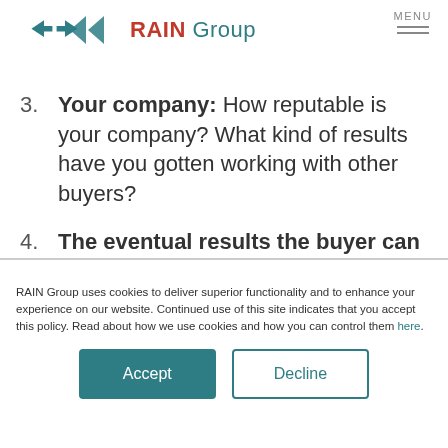RAIN Group
3. Your company: How reputable is your company? What kind of results have you gotten working with other buyers?
4. The eventual results the buyer can achieve: What does success look like for your buyer? Does it mean less hassle for them? A good ROI? Something else?
RAIN Group uses cookies to deliver superior functionality and to enhance your experience on our website. Continued use of this site indicates that you accept this policy. Read about how we use cookies and how you can control them here.